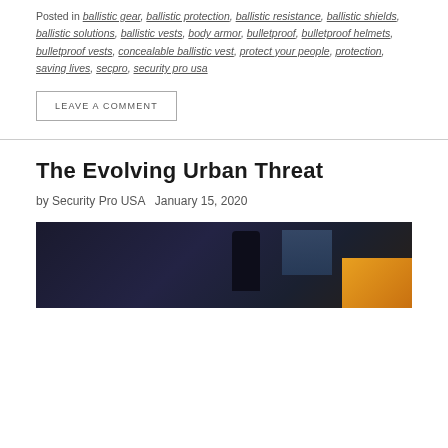Posted in ballistic gear, ballistic protection, ballistic resistance, ballistic shields, ballistic solutions, ballistic vests, body armor, bulletproof, bulletproof helmets, bulletproof vests, concealable ballistic vest, protect your people, protection, saving lives, secpro, security pro usa
LEAVE A COMMENT
The Evolving Urban Threat
by Security Pro USA   January 15, 2020
[Figure (photo): Dark atmospheric photo showing a silhouetted figure in a dimly lit interior space with blue-toned lighting and yellow/orange accent color on the right side]